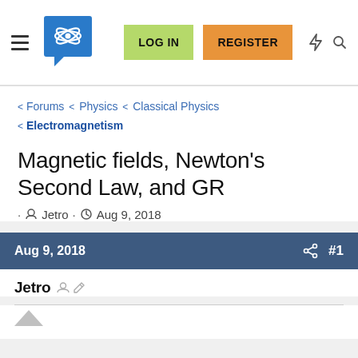Physics Forums logo | LOG IN | REGISTER | notification icon | search icon
< Forums < Physics < Classical Physics < Electromagnetism
Magnetic fields, Newton's Second Law, and GR
· Jetro · Aug 9, 2018
Aug 9, 2018 #1
Jetro